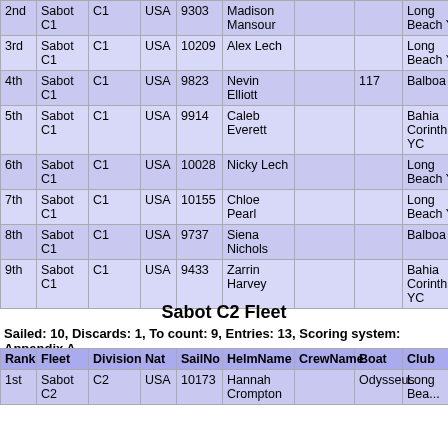| Rank | Fleet | Division | Nat | SailNo | HelmName | CrewName | Boat | Club |
| --- | --- | --- | --- | --- | --- | --- | --- | --- |
| 2nd | Sabot C1 | C1 | USA | 9303 | Madison Mansour |  |  | Long Beach YC |
| 3rd | Sabot C1 | C1 | USA | 10209 | Alex Lech |  |  | Long Beach YC |
| 4th | Sabot C1 | C1 | USA | 9823 | Nevin Elliott |  | 117 | Balboa YC |
| 5th | Sabot C1 | C1 | USA | 9914 | Caleb Everett |  |  | Bahia Corinthia YC |
| 6th | Sabot C1 | C1 | USA | 10028 | Nicky Lech |  |  | Long Beach YC |
| 7th | Sabot C1 | C1 | USA | 10155 | Chloe Pearl |  |  | Long Beach YC |
| 8th | Sabot C1 | C1 | USA | 9737 | Siena Nichols |  |  | Balboa YC |
| 9th | Sabot C1 | C1 | USA | 9433 | Zarrin Harvey |  |  | Bahia Corinthia YC |
Sabot C2 Fleet
Sailed: 10, Discards: 1, To count: 9, Entries: 13, Scoring system: Appendix A
| Rank | Fleet | Division | Nat | SailNo | HelmName | CrewName | Boat | Club |
| --- | --- | --- | --- | --- | --- | --- | --- | --- |
| 1st | Sabot C2 | C2 | USA | 10173 | Hannah Crompton |  | Odysseus | Long Bea... |